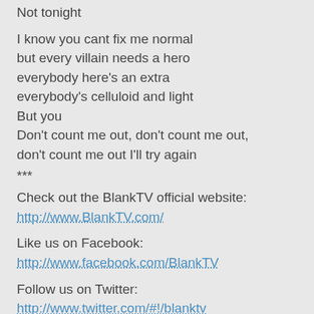Not tonight
I know you cant fix me normal
but every villain needs a hero
everybody here's an extra
everybody's celluloid and light
But you
Don't count me out, don't count me out,
don't count me out I'll try again
***
Check out the BlankTV official website:
http://www.BlankTV.com/
Like us on Facebook:
http://www.facebook.com/BlankTV
Follow us on Twitter:
http://www.twitter.com/#!/blanktv